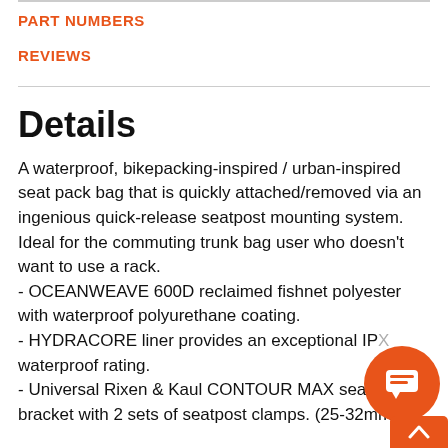PART NUMBERS
REVIEWS
Details
A waterproof, bikepacking-inspired / urban-inspired seat pack bag that is quickly attached/removed via an ingenious quick-release seatpost mounting system. Ideal for the commuting trunk bag user who doesn't want to use a rack.
- OCEANWEAVE 600D reclaimed fishnet polyester with waterproof polyurethane coating.
- HYDRACORE liner provides an exceptional IPX waterproof rating.
- Universal Rixen & Kaul CONTOUR MAX seatpost bracket with 2 sets of seatpost clamps. (25-32mm & 22-32mm)…